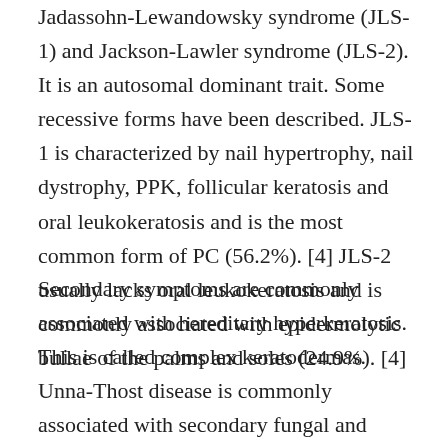Jadassohn-Lewandowsky syndrome (JLS-1) and Jackson-Lawler syndrome (JLS-2). It is an autosomal dominant trait. Some recessive forms have been described. JLS-1 is characterized by nail hypertrophy, nail dystrophy, PPK, follicular keratosis and oral leukokeratosis and is the most common form of PC (56.2%). [4] JLS-2 usually lacks oral leukokeratosis and is commonly associated with epidermolytic bullae of the palms and soles (24.9%). [4]
Secondary symptoms are commonly associated with hereditary hyperkeratosis. This is called complex keratodermas. Unna-Thost disease is commonly associated with secondary fungal and bacterial infections. [1] Corneal opacities, pilitorti, hearing loss, hypohidrosis and dental abnormalities have also been described. [7]